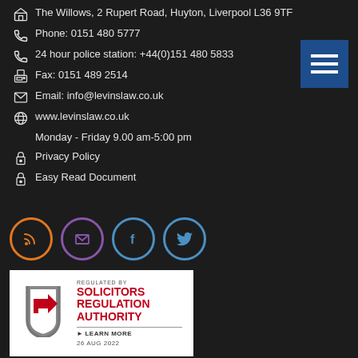The Willows, 2 Rupert Road, Huyton, Liverpool L36 9TF
Phone: 0151 480 5777
24 hour police station: +44(0)151 480 5833
Fax: 0151 489 2514
Email: info@levinslaw.co.uk
www.levinslaw.co.uk
Monday - Friday 9.00 am-5:00 pm
Privacy Policy
Easy Read Document
[Figure (infographic): Four social media icons in circles: RSS feed (orange border), Email/envelope (purple border), Facebook (blue border), Twitter (blue border)]
[Figure (logo): Solicitors Regulation Authority badge: regulated by Solicitors Regulation Authority, Learn More, 26 AUG 2022]